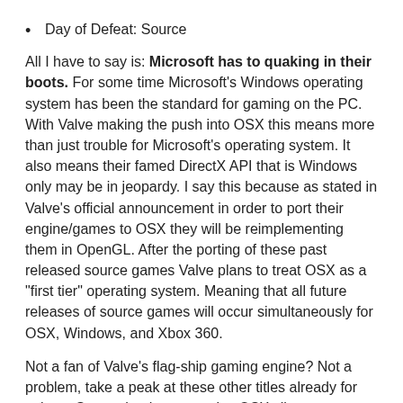Day of Defeat: Source
All I have to say is: Microsoft has to quaking in their boots. For some time Microsoft's Windows operating system has been the standard for gaming on the PC. With Valve making the push into OSX this means more than just trouble for Microsoft's operating system. It also means their famed DirectX API that is Windows only may be in jeopardy. I say this because as stated in Valve's official announcement in order to port their engine/games to OSX they will be reimplementing them in OpenGL. After the porting of these past released source games Valve plans to treat OSX as a "first tier" operating system. Meaning that all future releases of source games will occur simultaneously for OSX, Windows, and Xbox 360.
Not a fan of Valve's flag-ship gaming engine? Not a problem, take a peak at these other titles already for sale on Steam that have a native OSX client:
Aliens versus Predator (original)
Altitude